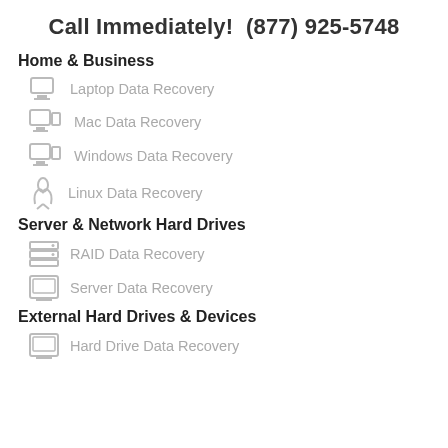Call Immediately!  (877) 925-5748
Home & Business
Laptop Data Recovery
Mac Data Recovery
Windows Data Recovery
Linux Data Recovery
Server & Network Hard Drives
RAID Data Recovery
Server Data Recovery
External Hard Drives & Devices
Hard Drive Data Recovery